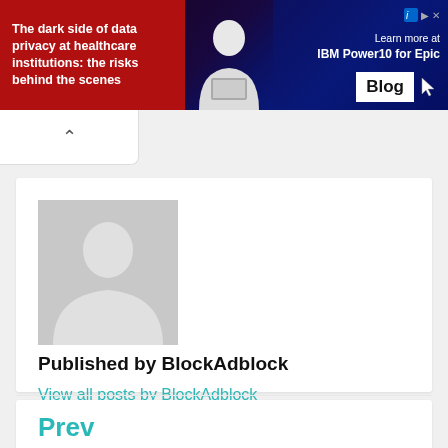[Figure (illustration): Advertisement banner: dark purple/navy background with red section on left reading 'The dark side of data privacy at healthcare institutions: the risks behind the scenes', a person with a laptop in the middle, and IBM Power10 for Epic Blog button on the right]
[Figure (photo): Generic grey avatar/silhouette placeholder image for a user profile]
Published by BlockAdblock
View all posts by BlockAdblock
Prev
Blocking Adblock without Javascript